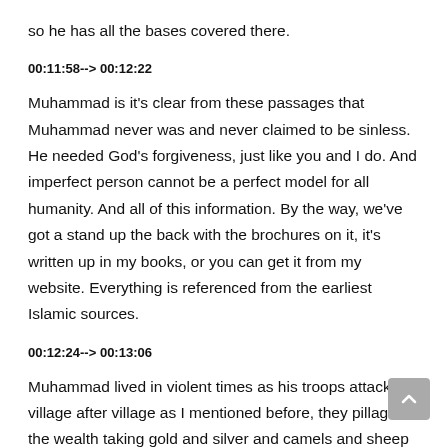so he has all the bases covered there.
00:11:58--> 00:12:22
Muhammad is it's clear from these passages that Muhammad never was and never claimed to be sinless. He needed God's forgiveness, just like you and I do. And imperfect person cannot be a perfect model for all humanity. And all of this information. By the way, we've got a stand up the back with the brochures on it, it's written up in my books, or you can get it from my website. Everything is referenced from the earliest Islamic sources.
00:12:24--> 00:13:06
Muhammad lived in violent times as his troops attacked village after village as I mentioned before, they pillage the wealth taking gold and silver and camels and sheep as booty. And here's a list of the military